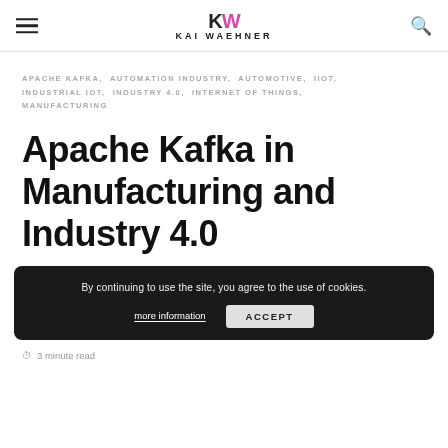KW KAI WAEHNER
APACHE KAFKA, AUTOMATION INDUSTRY, AUTOMOTIVE, IIOT, INDUSTRIAL IOT, INDUSTRY 4.0, INTERNET OF THINGS, MANUFACTURING
Apache Kafka in Manufacturing and Industry 4.0
By continuing to use the site, you agree to the use of cookies. more information ACCEPT
3 minute read